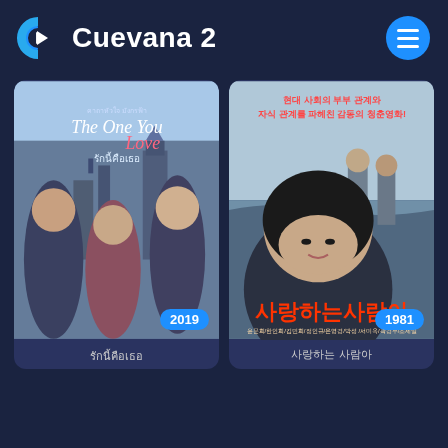[Figure (logo): Cuevana 2 logo with blue C and play button icon, and hamburger menu button on the right]
[Figure (photo): Movie poster for 'The One You Love' (2019) - Thai romantic movie showing three young people in London setting with Big Ben]
[Figure (photo): Movie poster for Korean film 사랑하는 사람아 (1981) - Korean movie poster with Korean text describing family relationship drama]
รักนี้คือเธอ
사랑하는 사람아